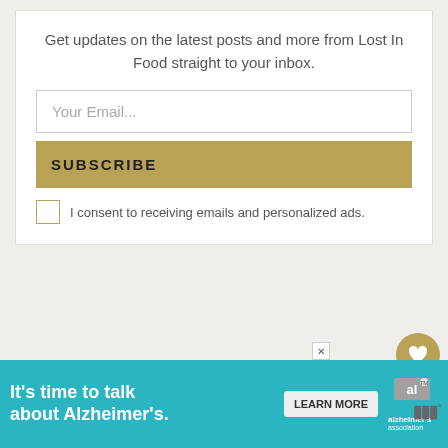Get updates on the latest posts and more from Lost In Food straight to your inbox.
Your Email...
SUBSCRIBE
I consent to receiving emails and personalized ads.
870
WHAT'S NEXT → easy lemon tiramisu wit...
[Figure (infographic): Advertisement banner: It's time to talk about Alzheimer's. with LEARN MORE button and Alzheimer's Association logo.]
It's time to talk about Alzheimer's.
LEARN MORE